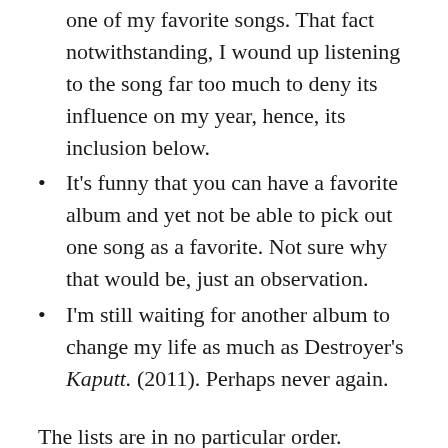one of my favorite songs. That fact notwithstanding, I wound up listening to the song far too much to deny its influence on my year, hence, its inclusion below.
It's funny that you can have a favorite album and yet not be able to pick out one song as a favorite. Not sure why that would be, just an observation.
I'm still waiting for another album to change my life as much as Destroyer's Kaputt. (2011). Perhaps never again.
The lists are in no particular order. Perhaps my listening habits will strike you as provincial, or boring. Perhaps I'll inspire you to listen to a few new songs. Either way, for what it's worth,